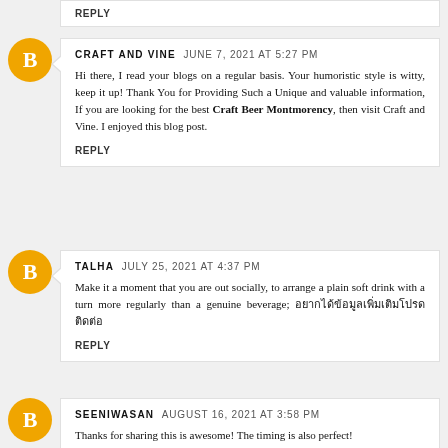Reply
CRAFT AND VINE  JUNE 7, 2021 AT 5:27 PM
Hi there, I read your blogs on a regular basis. Your humoristic style is witty, keep it up! Thank You for Providing Such a Unique and valuable information, If you are looking for the best Craft Beer Montmorency, then visit Craft and Vine. I enjoyed this blog post.
Reply
TALHA  JULY 25, 2021 AT 4:37 PM
Make it a moment that you are out socially, to arrange a plain soft drink with a turn more regularly than a genuine beverage; [Thai characters]
Reply
SEENIWASAN  AUGUST 16, 2021 AT 3:58 PM
Thanks for sharing this is awesome! The timing is also perfect!